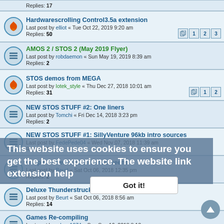Replies: 17
Hardwarescrolling Control3.5a extension
Last post by elliot « Tue Oct 22, 2019 9:20 am
Replies: 50
Pages: 1 2 3
AMOS 2 / STOS 2 (May 2019 Flyer)
Last post by robdaemon « Sun May 19, 2019 8:39 am
Replies: 2
STOS demos from MEGA
Last post by lotek_style « Thu Dec 27, 2018 10:01 am
Replies: 31
Pages: 1 2
NEW STOS STUFF #2: One liners
Last post by Tomchi « Fri Dec 14, 2018 3:23 pm
Replies: 2
NEW STOS STUFF #1: SillyVenture 96kb intro sources
Last post by FedePede04 « Wed Nov 07, 2018 11:39 am
Replies: 6
couple of new STOS demoscreens
Last post by Beurt « Sat Oct 06, 2018 12:35 pm
Replies: 2
Deluxe Thunderstruck extension help
Last post by Beurt « Sat Oct 06, 2018 8:56 am
Replies: 14
Games Re-compiling
Last post by mlynn1974 « Sun Sep 16, 2018 8:13 pm
Replies: 2
Read mouse data directly
This website uses cookies to ensure you get the best experience. The website link extension help
Got it!